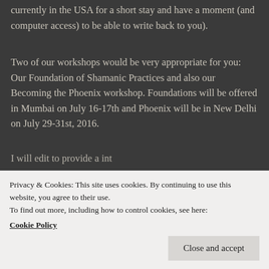currently in the USA for a short stay and have a moment (and computer access) to be able to write back to you).
Two of our workshops would be very appropriate for you: Our Foundation of Shamanic Practices and also our Becoming the Phoenix workshop. Foundations will be offered in Mumbai on July 16-17th and Phoenix will be in New Delhi on July 29-31st, 2016.
I will edit to provide a int...
Privacy & Cookies: This site uses cookies. By continuing to use this website, you agree to their use.
To find out more, including how to control cookies, see here:
Cookie Policy